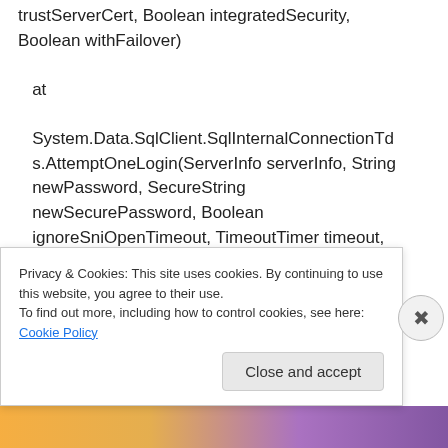trustServerCert, Boolean integratedSecurity, Boolean withFailover)
   at
   System.Data.SqlClient.SqlInternalConnectionTds.AttemptOneLogin(ServerInfo serverInfo, String newPassword, SecureString newSecurePassword, Boolean ignoreSniOpenTimeout, TimeoutTimer timeout, Boolean withFailover)
   at
   System.Data.SqlClient.SqlInternalConnectionTd
Privacy & Cookies: This site uses cookies. By continuing to use this website, you agree to their use.
To find out more, including how to control cookies, see here: Cookie Policy